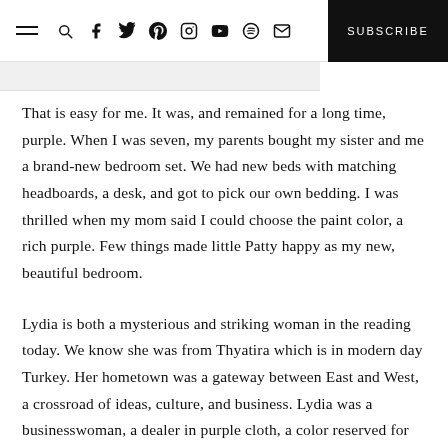SUBSCRIBE
That is easy for me. It was, and remained for a long time, purple. When I was seven, my parents bought my sister and me a brand-new bedroom set. We had new beds with matching headboards, a desk, and got to pick our own bedding. I was thrilled when my mom said I could choose the paint color, a rich purple. Few things made little Patty happy as my new, beautiful bedroom.
Lydia is both a mysterious and striking woman in the reading today. We know she was from Thyatira which is in modern day Turkey. Her hometown was a gateway between East and West, a crossroad of ideas, culture, and business. Lydia was a businesswoman, a dealer in purple cloth, a color reserved for royalty. She did business with people who made clothes for kings and